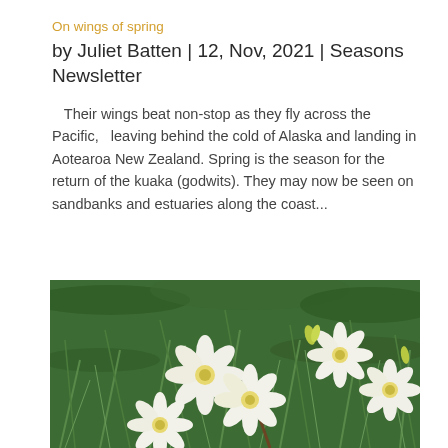On wings of spring
by Juliet Batten | 12, Nov, 2021 | Seasons Newsletter
Their wings beat non-stop as they fly across the Pacific,   leaving behind the cold of Alaska and landing in Aotearoa New Zealand. Spring is the season for the return of the kuaka (godwits). They may now be seen on sandbanks and estuaries along the coast...
[Figure (photo): White star-shaped flowers growing among green grass, photographed from above]